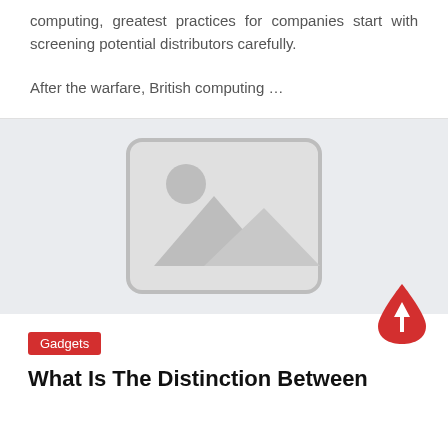computing, greatest practices for companies start with screening potential distributors carefully.
After the warfare, British computing …
[Figure (illustration): Image placeholder graphic showing a mountain landscape icon with a circle (sun) in the upper left, inside a rounded rectangle border, on a light grey background.]
Gadgets
What Is The Distinction Between